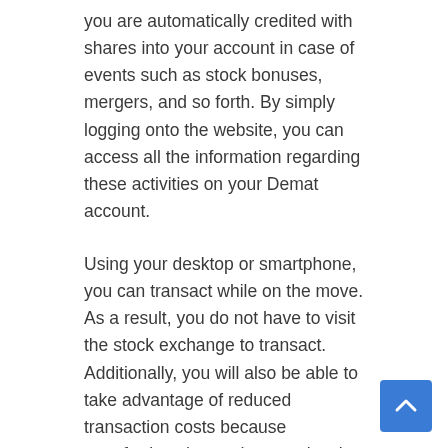you are automatically credited with shares into your account in case of events such as stock bonuses, mergers, and so forth. By simply logging onto the website, you can access all the information regarding these activities on your Demat account.
Using your desktop or smartphone, you can transact while on the move. As a result, you do not have to visit the stock exchange to transact. Additionally, you will also be able to take advantage of reduced transaction costs because transferring shares does not involve the payment of stamp duty.
There are many features and benefits that come with a Demat account. These features and